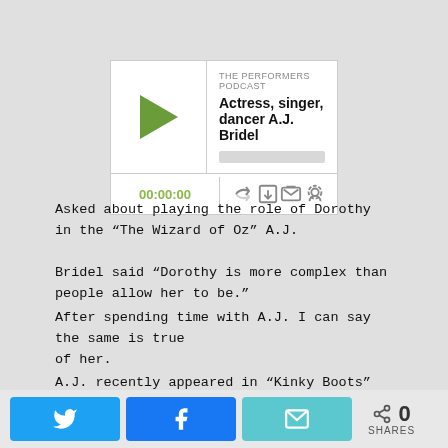[Figure (screenshot): Podcast player widget for 'The Performers Podcast' episode featuring Actress, singer, dancer A.J. Bridel. Shows play button, episode title, progress bar, timestamp 00:00:00, and control icons.]
Asked about playing the role of Dorothy in the “The Wizard of Oz” A.J. Bridel said “Dorothy is more complex than people allow her to be.”
After spending time with A.J. I can say the same is true of her.
A.J. recently appeared in “Kinky Boots” with Alan Mingo Jr. whose Broadway credits include Sebastian in
[Figure (screenshot): Social sharing bar with Twitter, Facebook, and email share buttons, plus a share count showing 0 SHARES.]